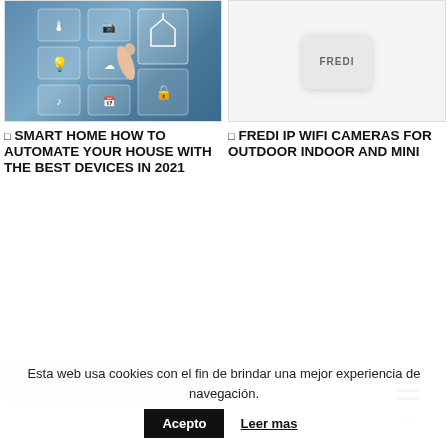[Figure (photo): Smart home interface showing a hand touching a digital display panel with smart home icons including thermometer, camera, lightbulb, weather, music, calendar, lock, and settings on a blue background]
[Figure (photo): FREDI branded white dome-shaped IP WiFi camera device on a light gray background]
◻ SMART HOME HOW TO AUTOMATE YOUR HOUSE WITH THE BEST DEVICES IN 2021
◻ FREDI IP WIFI CAMERAS FOR OUTDOOR INDOOR AND MINI
[Figure (photo): Partial thumbnail image at bottom left, showing a person's hands or a product]
Esta web usa cookies con el fin de brindar una mejor experiencia de navegación.
Acepto
Leer mas